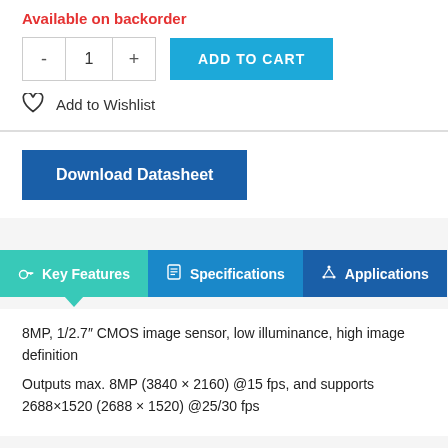Available on backorder
- 1 + ADD TO CART
Add to Wishlist
Download Datasheet
Key Features | Specifications | Applications
8MP, 1/2.7″ CMOS image sensor, low illuminance, high image definition
Outputs max. 8MP (3840 × 2160) @15 fps, and supports 2688×1520 (2688 × 1520) @25/30 fps